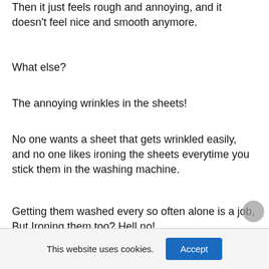Then it just feels rough and annoying, and it doesn't feel nice and smooth anymore.
What else?
The annoying wrinkles in the sheets!
No one wants a sheet that gets wrinkled easily, and no one likes ironing the sheets everytime you stick them in the washing machine.
Getting them washed every so often alone is a job, But Ironing them too? Hell no!
This website uses cookies.
Accept